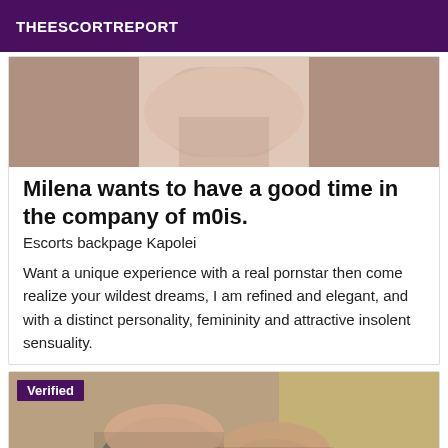THEESCORTREPORT
[Figure (photo): Partial photo of a person lying down, cropped, showing upper body area.]
Milena wants to have a good time in the company of m0is.
Escorts backpage Kapolei
Want a unique experience with a real pornstar then come realize your wildest dreams, I am refined and elegant, and with a distinct personality, femininity and attractive insolent sensuality.
[Figure (photo): Photo showing legs wearing black stockings/hosiery with a visible garter band, against a light background. A 'Verified' badge overlays the top-left corner.]